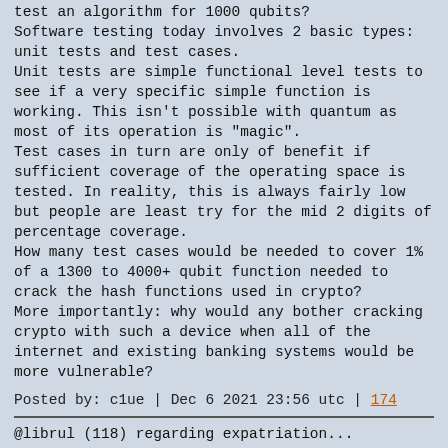test an algorithm for 1000 qubits?
Software testing today involves 2 basic types: unit tests and test cases.
Unit tests are simple functional level tests to see if a very specific simple function is working. This isn't possible with quantum as most of its operation is "magic".
Test cases in turn are only of benefit if sufficient coverage of the operating space is tested. In reality, this is always fairly low but people are least try for the mid 2 digits of percentage coverage.
How many test cases would be needed to cover 1% of a 1300 to 4000+ qubit function needed to crack the hash functions used in crypto?
More importantly: why would any bother cracking crypto with such a device when all of the internet and existing banking systems would be more vulnerable?
Posted by: c1ue | Dec 6 2021 23:56 utc | 174
@librul (118) regarding expatriation...
One time I came across a webpage on Kayak that shows which countries one can travel to from any given nation. In the case of the US, where I live:
https://www.kayak.com/travel-restrictions?&origin=US
For a long time I've been wanting to travel to Russia in the future.